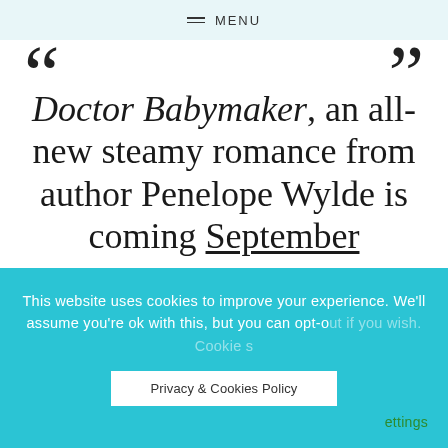MENU
Doctor Babymaker, an all-new steamy romance from author Penelope Wylde is coming September
This website uses cookies to improve your experience. We'll assume you're ok with this, but you can opt-out if you wish. Cookie settings
Privacy & Cookies Policy